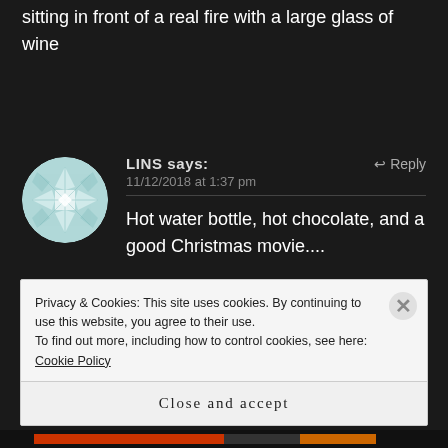sitting in front of a real fire with a large glass of wine
[Figure (illustration): Circular avatar with a snowflake/geometric quilt pattern in light blue and white]
LINS says: 11/12/2018 at 1:37 pm
Hot water bottle, hot chocolate, and a good Christmas movie....
Privacy & Cookies: This site uses cookies. By continuing to use this website, you agree to their use.
To find out more, including how to control cookies, see here: Cookie Policy
Close and accept